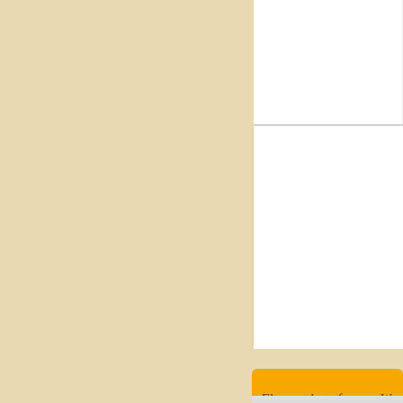[Figure (screenshot): A screenshot of a website UI showing a beige/tan left panel, two white content areas on the right side separated by a divider, and an orange title bar at the bottom right reading 'Flower photo frame - Wo...' with a metadata bar showing a calendar icon, '22 February 2012', a person icon, and 'Elena...']